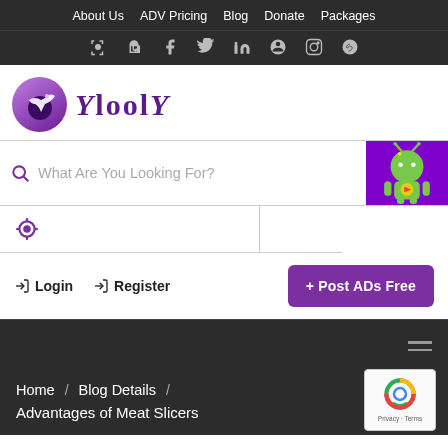About Us  ADV Pricing  Blog  Donate  Packages
[Figure (screenshot): Social media and navigation icons row: login, unlock, facebook, twitter, linkedin, pinterest, instagram, reddit]
[Figure (logo): Ylooly logo: purple circle with bird icon and Ylooly wordmark in purple serif font]
What Are You Looking For?
[Figure (illustration): Android robot mascot on purple background]
[Figure (other): Location/target icon in search location row]
Login  Register  + Post ADs Free
Home / Blog Details / Advantages of Meat Slicers
[Figure (other): reCAPTCHA badge with Privacy - Terms]